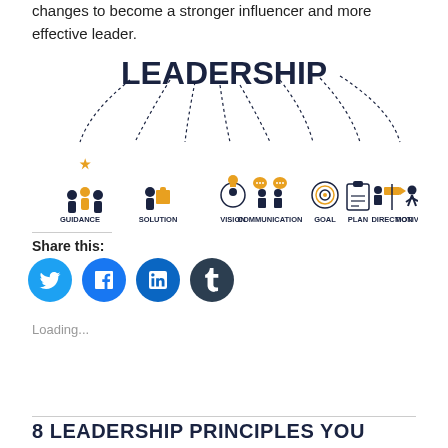changes to become a stronger influencer and more effective leader.
[Figure (infographic): Leadership infographic showing 8 pillars: GUIDANCE, SOLUTION, VISION, COMMUNICATION, GOAL, PLAN, DIRECTION, MOTIVATION, with icons and dashed arc lines connecting them under the word LEADERSHIP in bold.]
Share this:
[Figure (other): Social share buttons: Twitter (blue), Facebook (blue), LinkedIn (blue), Tumblr (dark navy)]
Loading...
8 LEADERSHIP PRINCIPLES YOU